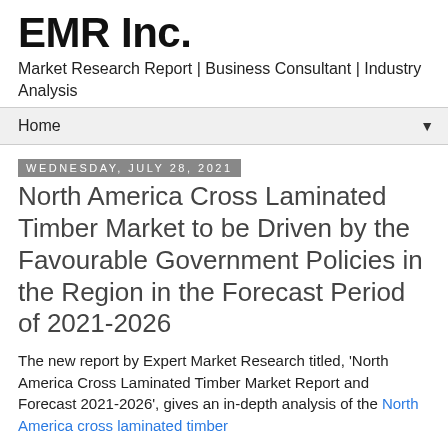EMR Inc.
Market Research Report | Business Consultant | Industry Analysis
Home ▼
Wednesday, July 28, 2021
North America Cross Laminated Timber Market to be Driven by the Favourable Government Policies in the Region in the Forecast Period of 2021-2026
The new report by Expert Market Research titled, 'North America Cross Laminated Timber Market Report and Forecast 2021-2026', gives an in-depth analysis of the North America cross laminated timber market...